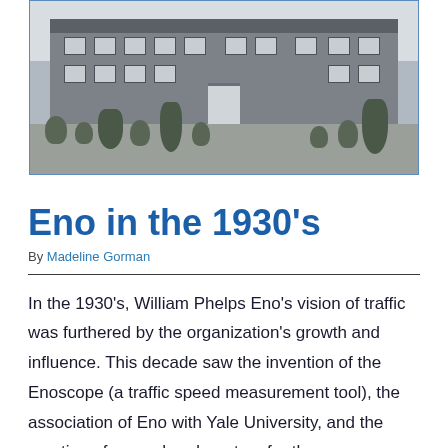[Figure (photo): Black and white photograph of a brick institutional building with manicured topiary bushes and trees in front, likely the Eno Foundation headquarters.]
Eno in the 1930's
By Madeline Gorman
In the 1930's, William Phelps Eno's vision of traffic was furthered by the organization's growth and influence. This decade saw the invention of the Enoscope (a traffic speed measurement tool), the association of Eno with Yale University, and the creation of a new headquarters for the